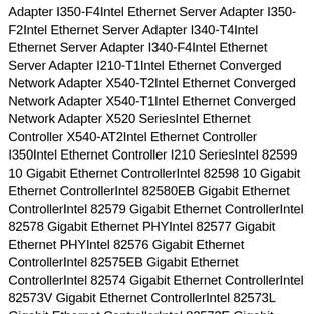Adapter I350-F4Intel Ethernet Server Adapter I350-F2Intel Ethernet Server Adapter I340-T4Intel Ethernet Server Adapter I340-F4Intel Ethernet Server Adapter I210-T1Intel Ethernet Converged Network Adapter X540-T2Intel Ethernet Converged Network Adapter X540-T1Intel Ethernet Converged Network Adapter X520 SeriesIntel Ethernet Controller X540-AT2Intel Ethernet Controller I350Intel Ethernet Controller I210 SeriesIntel 82599 10 Gigabit Ethernet ControllerIntel 82598 10 Gigabit Ethernet ControllerIntel 82580EB Gigabit Ethernet ControllerIntel 82579 Gigabit Ethernet ControllerIntel 82578 Gigabit Ethernet PHYIntel 82577 Gigabit Ethernet PHYIntel 82576 Gigabit Ethernet ControllerIntel 82575EB Gigabit Ethernet ControllerIntel 82574 Gigabit Ethernet ControllerIntel 82573V Gigabit Ethernet ControllerIntel 82573L Gigabit Ethernet ControllerIntel 82573E Gigabit Ethernet ControllerIntel 82572EI Gigabit Ethernet ControllerIntel 82571EB Gigabit Ethernet ControllerIntel 8256x Ethernet ControllersIntel 82567 Gigabit Ethernet